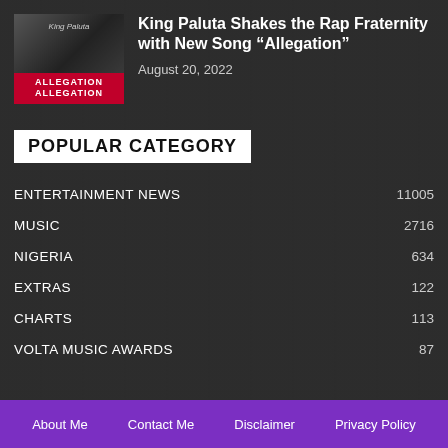[Figure (photo): Album cover thumbnail for King Paluta 'Allegation' showing a dark image with red banner text reading ALLEGATION]
King Paluta Shakes the Rap Fraternity with New Song “Allegation”
August 20, 2022
POPULAR CATEGORY
ENTERTAINMENT NEWS 11005
MUSIC 2716
NIGERIA 634
EXTRAS 122
CHARTS 113
VOLTA MUSIC AWARDS 87
About Me   Contact Me   Disclaimer   Privacy Policy